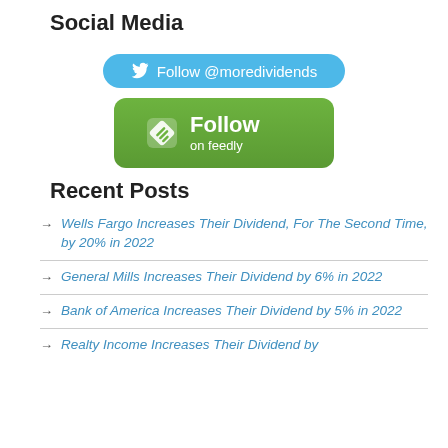Social Media
[Figure (other): Twitter Follow @moredividends button (blue rounded pill button with bird icon)]
[Figure (other): Follow on Feedly button (green rounded rectangle with Feedly logo and Follow on feedly text)]
Recent Posts
Wells Fargo Increases Their Dividend, For The Second Time, by 20% in 2022
General Mills Increases Their Dividend by 6% in 2022
Bank of America Increases Their Dividend by 5% in 2022
Realty Income Increases Their Dividend by